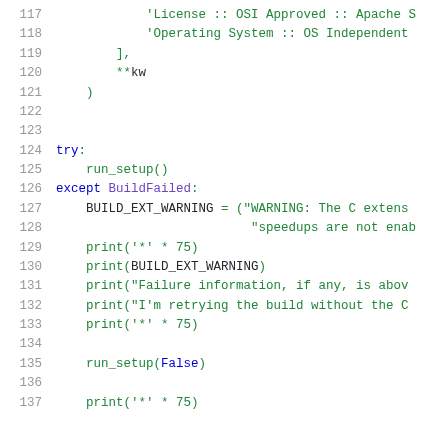[Figure (screenshot): Source code screenshot showing Python code lines 117-137, with syntax highlighting. Line numbers in gray on left, code in green and blue on right.]